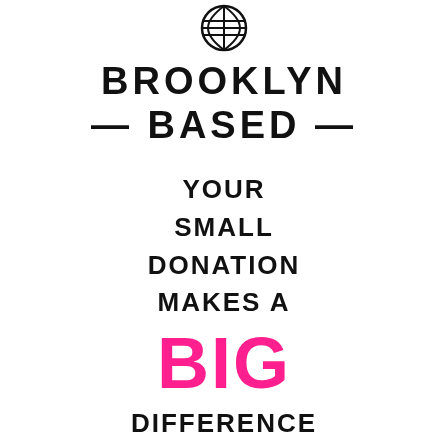[Figure (logo): Brooklyn Based logo: circular badge icon with grid/globe design at top]
BROOKLYN
— BASED —
YOUR SMALL DONATION MAKES A BIG DIFFERENCE
BECOME A MEMBER →